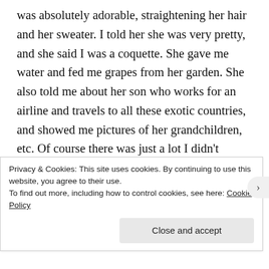was absolutely adorable, straightening her hair and her sweater. I told her she was very pretty, and she said I was a coquette. She gave me water and fed me grapes from her garden. She also told me about her son who works for an airline and travels to all these exotic countries, and showed me pictures of her grandchildren, etc. Of course there was just a lot I didn't understand, but she seemed genuinely happy to help and to have the company. She said I was very brave to be traveling alone and not know the language. I don't know about brave, maybe kind of
Privacy & Cookies: This site uses cookies. By continuing to use this website, you agree to their use.
To find out more, including how to control cookies, see here: Cookie Policy
Close and accept